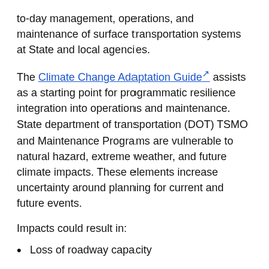to-day management, operations, and maintenance of surface transportation systems at State and local agencies.
The Climate Change Adaptation Guide assists as a starting point for programmatic resilience integration into operations and maintenance. State department of transportation (DOT) TSMO and Maintenance Programs are vulnerable to natural hazard, extreme weather, and future climate impacts. These elements increase uncertainty around planning for current and future events.
Impacts could result in:
Loss of roadway capacity
Loss of alternative routes
Loss of situational awareness (due to power/communications outages)
Inability to evacuate